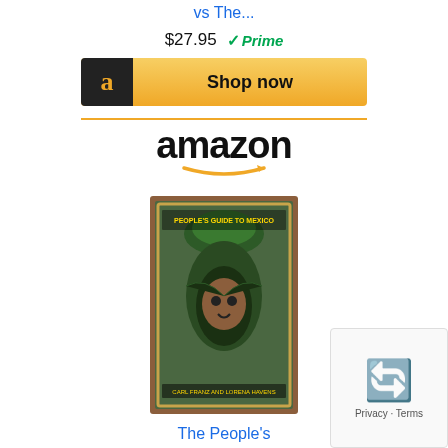vs The...
$27.95  ✓Prime
[Figure (screenshot): Amazon 'Shop now' button with black Amazon icon on left and gold background]
[Figure (logo): Amazon logo with orange smile arrow]
[Figure (photo): Book cover: The People's Guide to Mexico]
The People's Guide to Mexico
$23.24  ✓Prime
[Figure (screenshot): Amazon 'Shop now' button with black Amazon icon on left and gold background]
[Figure (logo): Amazon logo with orange smile arrow]
[Figure (photo): Book cover: Socializing Tourism - bottom third of page]